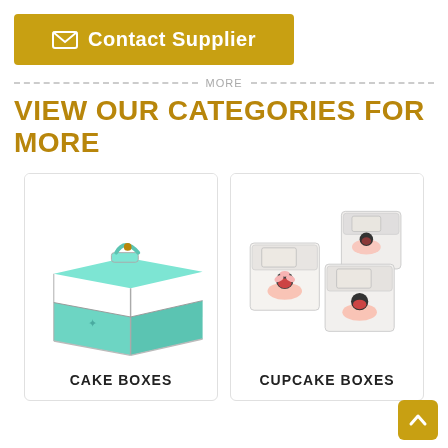[Figure (other): Gold/yellow 'Contact Supplier' button with envelope icon]
VIEW OUR CATEGORIES FOR MORE
[Figure (photo): Teal/mint colored cake box with handle]
CAKE BOXES
[Figure (photo): White cupcake boxes with window lids showing cupcakes inside]
CUPCAKE BOXES